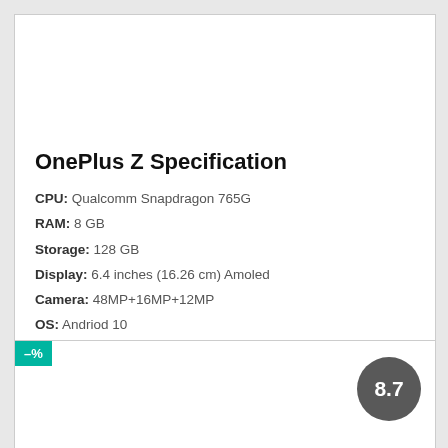OnePlus Z Specification
CPU: Qualcomm Snapdragon 765G
RAM: 8 GB
Storage: 128 GB
Display: 6.4 inches (16.26 cm) Amoled
Camera: 48MP+16MP+12MP
OS: Andriod 10
View Details →
Add to Compare
–%
8.7